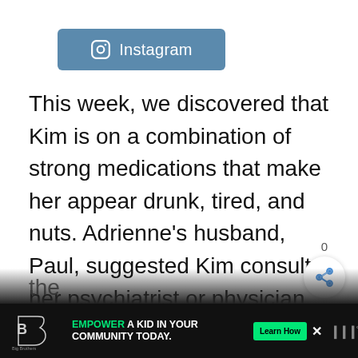[Figure (logo): Instagram logo badge with camera icon and text 'Instagram' on a steel blue background]
This week, we discovered that Kim is on a combination of strong medications that make her appear drunk, tired, and nuts. Adrienne’s husband, Paul, suggested Kim consult her psychiatrist or physician to re-evaluate this combination of meds. I say don’t see a physician. I’ve got all the meds the Real Housewives of Beverly Hills need right here at the
[Figure (other): Share button bubble with count 0 and share icon]
[Figure (other): Advertisement bar: Big Brothers Big Sisters logo, text EMPOWER A KID IN YOUR COMMUNITY TODAY., Learn How button, close X, and WW logo]